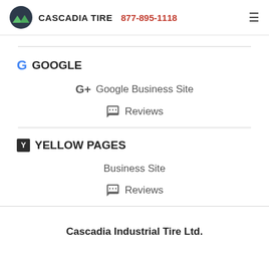CASCADIA TIRE  877-895-1118
G GOOGLE
G+ Google Business Site
Reviews
Y YELLOW PAGES
Business Site
Reviews
Cascadia Industrial Tire Ltd.